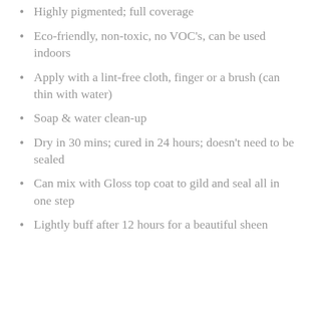Highly pigmented; full coverage
Eco-friendly, non-toxic, no VOC's, can be used indoors
Apply with a lint-free cloth, finger or a brush (can thin with water)
Soap & water clean-up
Dry in 30 mins; cured in 24 hours; doesn't need to be sealed
Can mix with Gloss top coat to gild and seal all in one step
Lightly buff after 12 hours for a beautiful sheen